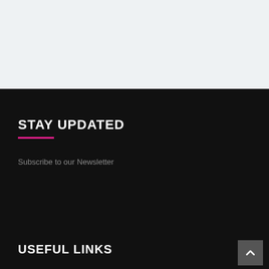[Figure (screenshot): Light grey top section of a webpage]
STAY UPDATED
Subscribe to our Newsletter
[Figure (screenshot): Email input field (white rectangle) and a pink rounded Submit button]
USEFUL LINKS